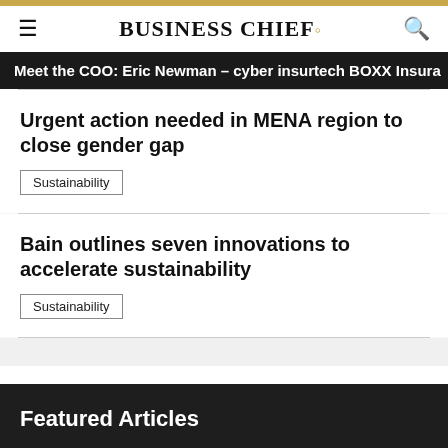BUSINESS CHIEF.
Meet the COO: Eric Newman – cyber insurtech BOXX Insura
Urgent action needed in MENA region to close gender gap
Sustainability
Bain outlines seven innovations to accelerate sustainability
Sustainability
Featured Articles